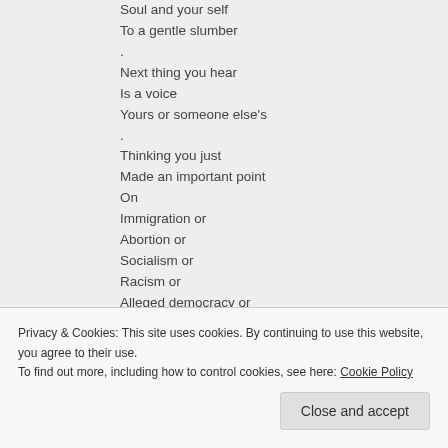Soul and your self
To a gentle slumber
.
Next thing you hear
Is a voice
Yours or someone else's
.
Thinking you just
Made an important point
On
Immigration or
Abortion or
Socialism or
Racism or
Alleged democracy or
Freedom or
God or guns
.
Privacy & Cookies: This site uses cookies. By continuing to use this website, you agree to their use.
To find out more, including how to control cookies, see here: Cookie Policy